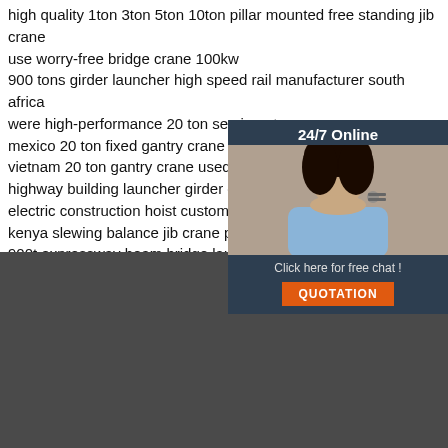high quality 1ton 3ton 5ton 10ton pillar mounted free standing jib crane
use worry-free bridge crane 100kw
900 tons girder launcher high speed rail manufacturer south africa
were high-performance 20 ton semi gantry crane
mexico 20 ton fixed gantry crane prices
vietnam 20 ton gantry crane used workshop custom su...
highway building launcher girder crane low price
electric construction hoist custom support bengal
kenya slewing balance jib crane prices
900t expressway beam bridge launcher crane supplier...
morocco 200ton electric hoist mobile gantry crane ma...
[Figure (photo): Customer service representative photo with 24/7 Online badge and Click here for free chat! text with QUOTATION button]
Get Solutions & Quotatio...
Name:
Email:
Please Enter Other Contact Information